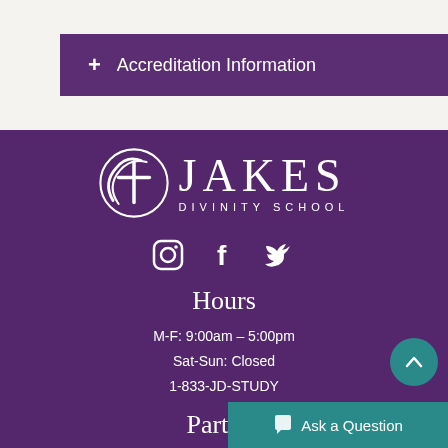+ Accreditation Information
[Figure (logo): Jakes Divinity School logo — circular cross emblem on left, 'JAKES' in large serif letters on right, 'DIVINITY SCHOOL' in small spaced caps below]
[Figure (infographic): Social media icons: Instagram, Facebook, Twitter]
Hours
M-F: 9:00am – 5:00pm
Sat-Sun: Closed
1-833-JD-STUDY
Partner